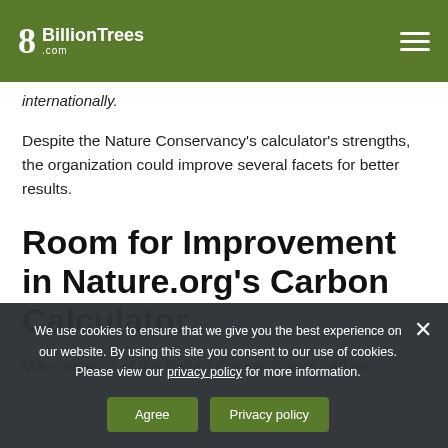8 BillionTrees .com
internationally.
Despite the Nature Conservancy’s calculator’s strengths, the organization could improve several facets for better results.
Room for Improvement in Nature.org’s Carbon Calculator
Many aspects of the Nature Conservancy’s carbon
We use cookies to ensure that we give you the best experience on our website. By using this site you consent to our use of cookies. Please view our privacy policy for more information.